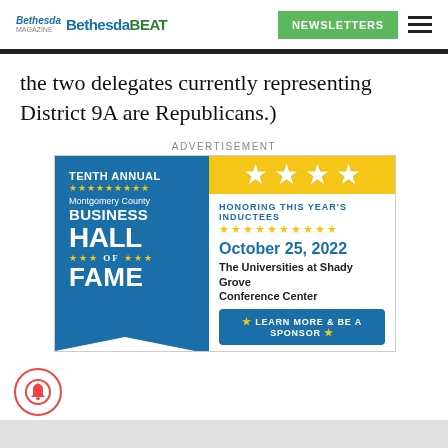Bethesda Bethesda BEAT | NEWSLETTERS
the two delegates currently representing District 9A are Republicans.)
ADVERTISEMENT
[Figure (infographic): Montgomery County Business Hall of Fame Tenth Annual advertisement banner. Features a blue ribbon with 'TENTH ANNUAL', star rows, 'Montgomery County', 'BUSINESS HALL OF FAME' text on the left side, and on the right: a yellow top section with four large stars, then white section with 'HONORING THIS YEAR'S INDUCTEES', star row, 'October 25, 2022', 'The Universities at Shady Grove Conference Center', and a blue 'LEARN MORE & BE A SPONSOR' button.]